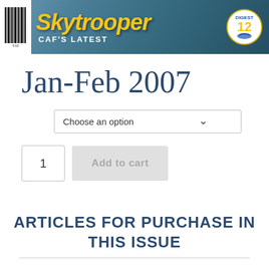[Figure (illustration): Skytrooper magazine banner header with barcode on left, 'Skytrooper' title in yellow italic bold text, 'CAF's LATEST' subtitle in white, and a circular 'DIGEST 12' badge on the right, all on a blue-teal background with aircraft imagery.]
Jan-Feb 2007
Choose an option
1
Add to cart
ARTICLES FOR PURCHASE IN THIS ISSUE